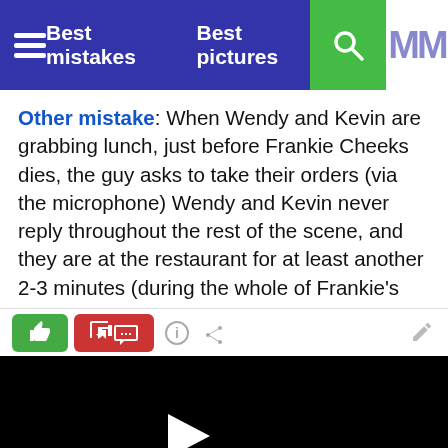Best mistakes   Best pictures
Other mistake: When Wendy and Kevin are grabbing lunch, just before Frankie Cheeks dies, the guy asks to take their orders (via the microphone) Wendy and Kevin never reply throughout the rest of the scene, and they are at the restaurant for at least another 2-3 minutes (during the whole of Frankie's death sequence) The guy working at the restaurant must be extremely patient not to ask for their orders again.
[Figure (screenshot): Video player with black background and white play button triangle]